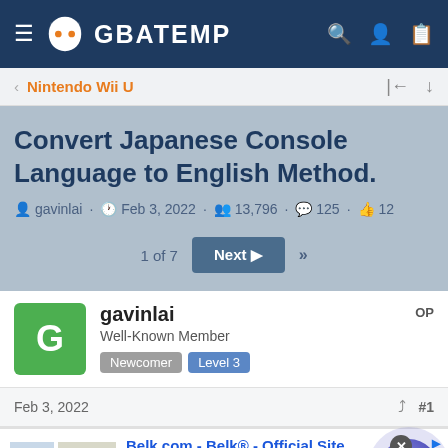GBATEMP
Nintendo Wii U
Convert Japanese Console Language to English Method.
gavinlai · Feb 3, 2022 · 13,796 · 125 · 12
1 of 7  Next  >>
gavinlai  OP
Well-Known Member
Newcomer  Level 3
Feb 3, 2022  #1
Belk.com - Belk® - Official Site
Shop for clothing, handbags, jewelry, beauty, home & more!
www.belk.com